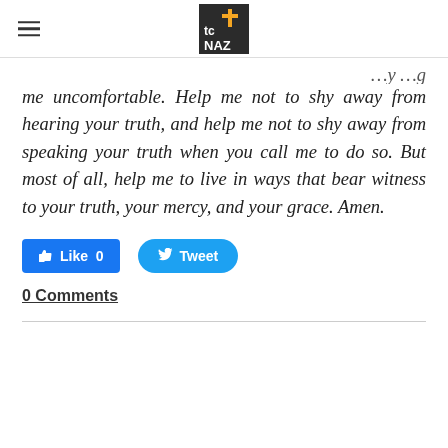tc NAZ (logo with cross)
me uncomfortable.  Help me not to shy away from hearing your truth, and help me not to shy away from speaking your truth when you call me to do so.  But most of all, help me to live in ways that bear witness to your truth, your mercy, and your grace.  Amen.
[Figure (other): Facebook Like button with count 0 and Twitter Tweet button]
0 Comments